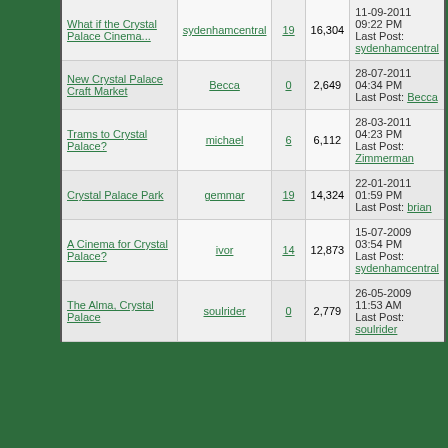| Topic | Author | Replies | Views | Last Post |
| --- | --- | --- | --- | --- |
| What if the Crystal Palace Cinema... | sydenhamcentral | 19 | 16,304 | 11-09-2011 09:22 PM Last Post: sydenhamcentral |
| New Crystal Palace Craft Market | Becca | 0 | 2,649 | 28-07-2011 04:34 PM Last Post: Becca |
| Trams to Crystal Palace? | michael | 6 | 6,112 | 28-03-2011 04:23 PM Last Post: Zimmerman |
| Crystal Palace Park | gemmar | 19 | 14,324 | 22-01-2011 01:59 PM Last Post: brian |
| A Cinema for Crystal Palace? | ivor | 14 | 12,873 | 15-07-2009 03:54 PM Last Post: sydenhamcentral |
| The Alma, Crystal Palace | soulrider | 0 | 2,779 | 26-05-2009 11:53 AM Last Post: soulrider |